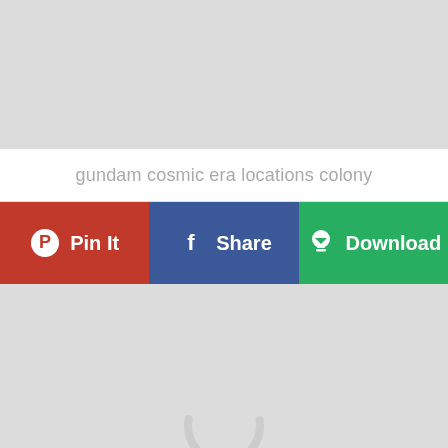[Figure (photo): Top gray placeholder image area]
gundam cosmic era locations colony
[Figure (infographic): Three social/action buttons: Pin It (red/Pinterest), Share (blue/Facebook), Download (green)]
[Figure (photo): Bottom gray placeholder image area with partial loading circle icon at bottom center]